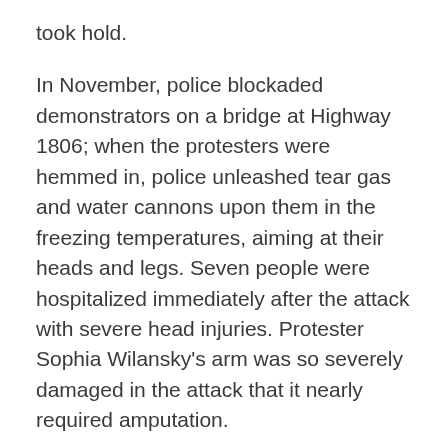took hold.
In November, police blockaded demonstrators on a bridge at Highway 1806; when the protesters were hemmed in, police unleashed tear gas and water cannons upon them in the freezing temperatures, aiming at their heads and legs. Seven people were hospitalized immediately after the attack with severe head injuries. Protester Sophia Wilansky’s arm was so severely damaged in the attack that it nearly required amputation.
The Morton County Sheriff’s Department defended the attack, contradicting eyewitness accounts by saying that protesters had become “aggressive” and that they had started fires. Demonstrators have said that the fires were